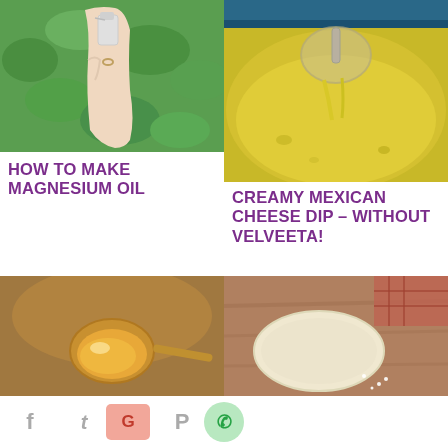[Figure (photo): A hand holding a small spray bottle against a green leafy background outdoors]
[Figure (photo): A spoon scooping creamy yellow cheese dip from a pot, with a blue pot rim visible]
HOW TO MAKE MAGNESIUM OIL
CREAMY MEXICAN CHEESE DIP – WITHOUT VELVEETA!
[Figure (photo): A golden oil-filled spoon closeup with blurred background]
[Figure (photo): A corn tortilla or masa on a wooden surface with salt visible]